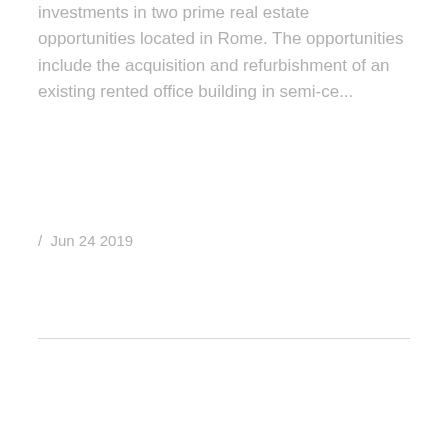investments in two prime real estate opportunities located in Rome. The opportunities include the acquisition and refurbishment of an existing rented office building in semi-ce...
/ Jun 24 2019